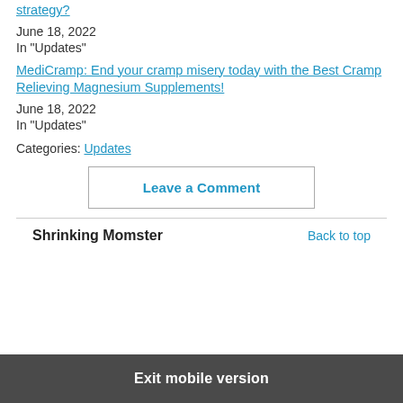...strategy? June 18, 2022 In "Updates"
MediCramp: End your cramp misery today with the Best Cramp Relieving Magnesium Supplements! June 18, 2022 In "Updates"
Categories: Updates
Leave a Comment
Shrinking Momster
Back to top
Exit mobile version